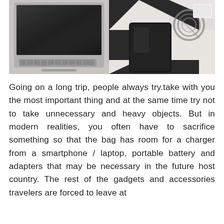[Figure (photo): A photo showing a laptop keyboard on the left side, and on the right side a smartphone on a black and white geometric patterned surface with a coiled cable/charger nearby and what appears to be a white device or charger in the upper right.]
Going on a long trip, people always try.take with you the most important thing and at the same time try not to take unnecessary and heavy objects. But in modern realities, you often have to sacrifice something so that the bag has room for a charger from a smartphone / laptop, portable battery and adapters that may be necessary in the future host country. The rest of the gadgets and accessories travelers are forced to leave at